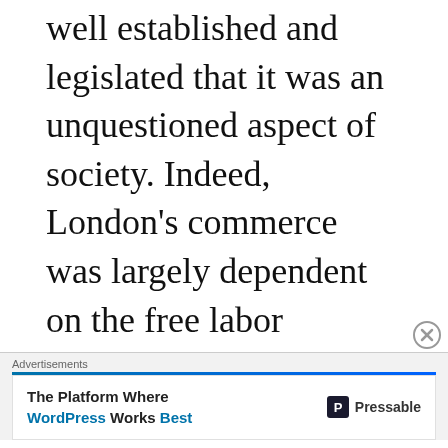well established and legislated that it was an unquestioned aspect of society. Indeed, London's commerce was largely dependent on the free labor provided by these boys in the name of training them in what amounted to one of history's longest, most thankless internships. However, guidelines are written not
[Figure (other): Advertisement banner: 'The Platform Where WordPress Works Best' by Pressable, with blue accent line and close button]